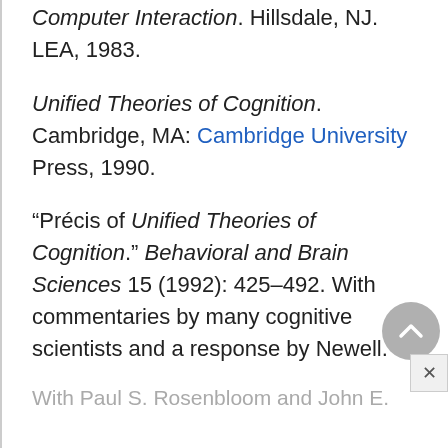Computer Interaction. Hillsdale, NJ. LEA, 1983.
Unified Theories of Cognition. Cambridge, MA: Cambridge University Press, 1990.
"Précis of Unified Theories of Cognition." Behavioral and Brain Sciences 15 (1992): 425–492. With commentaries by many cognitive scientists and a response by Newell.
With Paul S. Rosenbloom and John E.